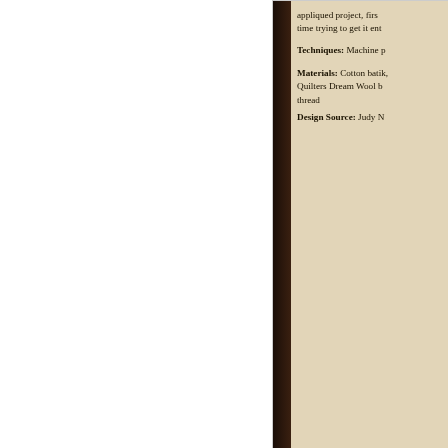[Figure (photo): Cropped view of a quilt book page showing beige/cream background text panel with dark brown spine strip on the left. Text describes techniques, materials, and design source for an appliqued quilt project.]
appliqued project, first... time trying to get it ent...
Techniques: Machine p...
Materials: Cotton batik... Quilters Dream Wool b... thread
Design Source: Judy N...
[Figure (photo): Close-up photograph of a quilt featuring a cream/ivory background with a decorative vine and berry border pattern in greens and reds/pinks, a teal/turquoise inner border with white dashed triangles, and a dark navy outer border at the top. The central area shows a lighter background with floral applique motifs.]